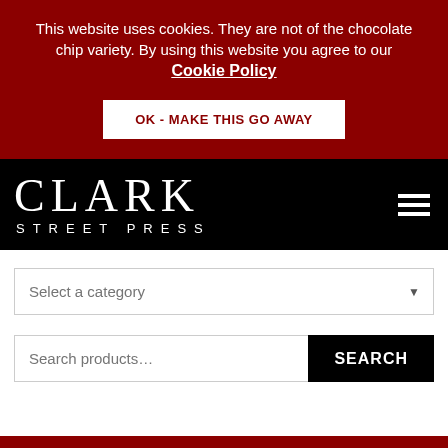This website uses cookies. They are not of the chocolate chip variety. By using this website you agree to our Cookie Policy
OK - MAKE THIS GO AWAY
[Figure (logo): Clark Street Press logo on black background with hamburger menu icon]
Select a category
Search products...
SEARCH